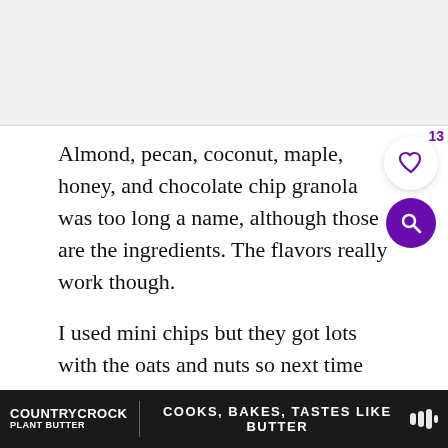[Figure (photo): Top image area showing food/granola photo (partially visible, cropped)]
Almond, pecan, coconut, maple, honey, and chocolate chip granola was too long a name, although those are the ingredients. The flavors really work though.
I used mini chips but they got lots with the oats and nuts so next time I'll use regular size chocolate chips.
Making homemade granola is so easy and I w... really
[Figure (screenshot): Country Crock Plant Butter advertisement banner at bottom with text: COOKS, BAKES, TASTES LIKE BUTTER]